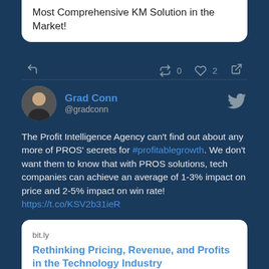Most Comprehensive KM Solution in the Market!
0 retweets, 2 likes
Grad Conn @gradconn
The Profit Intelligence Agency can't find out about any more of PROS' secrets for #profitablegrowth. We don't want them to know that with PROS solutions, tech companies can achieve an average of 1-3% impact on price and 2-5% impact on win rate! https://t.co/KSV2b31ieR
bit.ly
Rethinking Pricing, Revenue, and Profits in the Technology Industry
Industry Brief for the Technology industry provides an overview of the state of the industry and introduces a framework guaranteed to drive rapid growth and profitability.